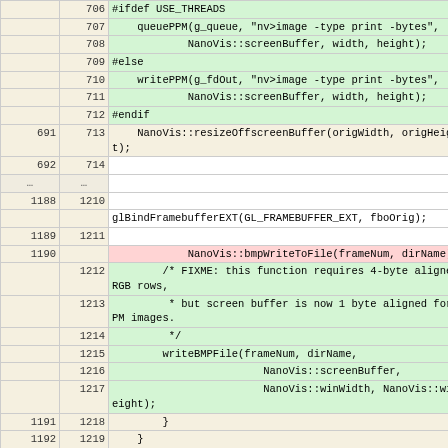[Figure (screenshot): Diff view of source code showing line-by-line changes with old/new line numbers and green/red highlighting for additions and deletions]